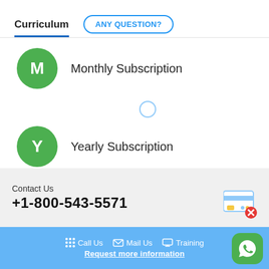Curriculum | ANY QUESTION?
M Monthly Subscription
Y Yearly Subscription
Contact Us
+1-800-543-5571
Call Us  Mail Us  Training  Request more information